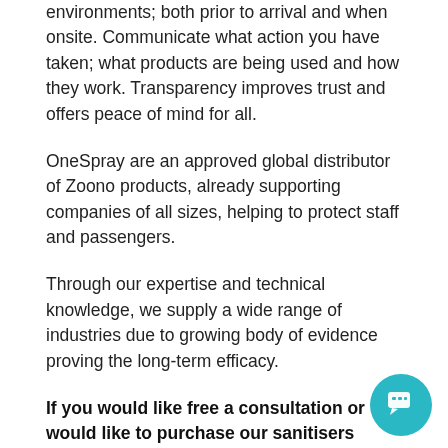environments; both prior to arrival and when onsite. Communicate what action you have taken; what products are being used and how they work. Transparency improves trust and offers peace of mind for all.
OneSpray are an approved global distributor of Zoono products, already supporting companies of all sizes, helping to protect staff and passengers.
Through our expertise and technical knowledge, we supply a wide range of industries due to growing body of evidence proving the long-term efficacy.
If you would like free a consultation or would like to purchase our sanitisers please visit us at www.onepray.com alternatively you can contact us on either info@onespray.com or